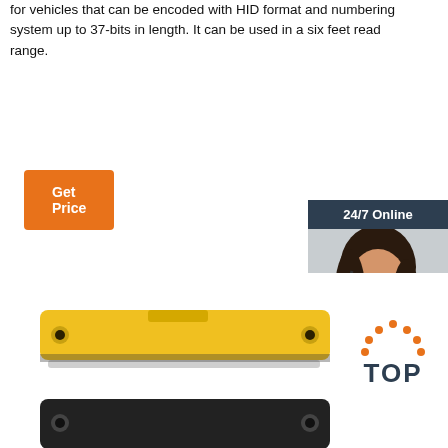for vehicles that can be encoded with HID format and numbering system up to 37-bits in length. It can be used in a six feet read range.
Get Price
[Figure (photo): Customer service representative with headset, 24/7 Online chat widget with QUOTATION button]
[Figure (photo): Yellow RFID tag product shown from top, and a black RFID tag product below it]
[Figure (logo): TOP logo with orange dots in arc above the text]